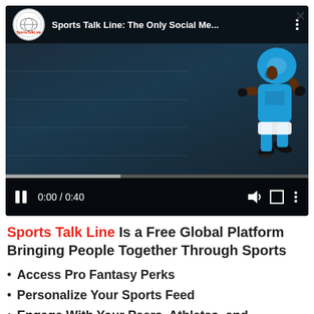[Figure (screenshot): Video player screenshot showing Sports Talk Line YouTube video thumbnail with animated football player running, paused at 0:00 / 0:40. Controls bar shows pause button, timestamp, volume, fullscreen, and more options icons. Progress bar shown at bottom.]
Sports Talk Line Is a Free Global Platform Bringing People Together Through Sports
Access Pro Fantasy Perks
Personalize Your Sports Feed
Engage With Your Peers, Athletes, and